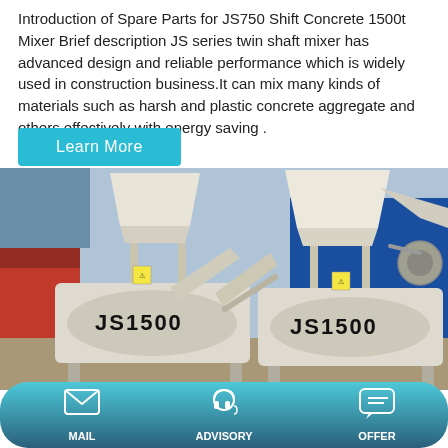Introduction of Spare Parts for JS750 Shift Concrete 15001 Mixer Brief description JS series twin shaft mixer has advanced design and reliable performance which is widely used in construction business.It can mix many kinds of materials such as harsh and plastic concrete aggregate and others effectively with energy saving .
Learn More
[Figure (photo): Two JS1500 twin shaft concrete mixers shown side by side outdoors with white/beige drum bodies labeled JS1500, large hopper feed systems on top, and industrial facility in background.]
[Figure (infographic): Bottom navigation bar with gradient background (teal/dark) showing three icons: MAIL (envelope), ADVISORY (headset), OFFER (speech bubbles)]